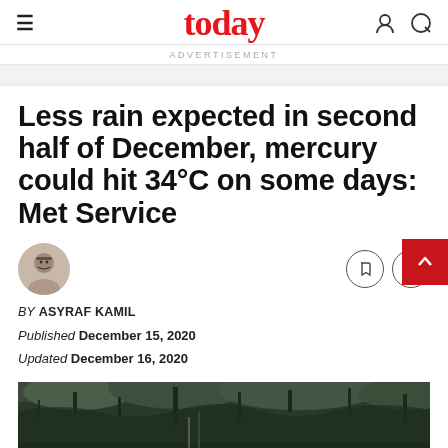today
ADVERTISEMENT
Less rain expected in second half of December, mercury could hit 34°C on some days: Met Service
BY ASYRAF KAMIL
Published December 15, 2020
Updated December 16, 2020
[Figure (photo): Photo of trees against a grey sky, viewed from below]